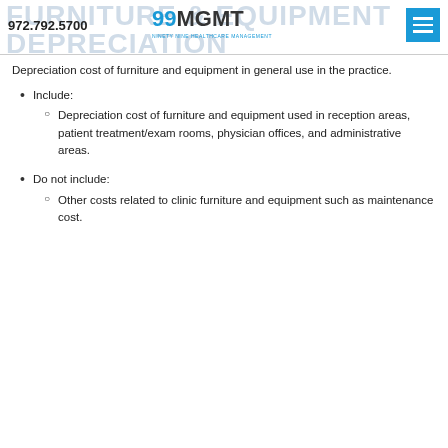FURNITURE & EQUIPMENT DEPRECIATION | 972.792.5700 | 99MGMT Ninety Nine Healthcare Management
Depreciation cost of furniture and equipment in general use in the practice.
Include:
Depreciation cost of furniture and equipment used in reception areas, patient treatment/exam rooms, physician offices, and administrative areas.
Do not include:
Other costs related to clinic furniture and equipment such as maintenance cost.